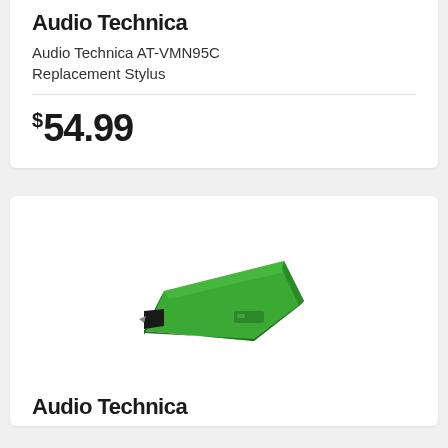Audio Technica
Audio Technica AT-VMN95C Replacement Stylus
$54.99
[Figure (photo): Green Audio Technica AT-VMN95C replacement stylus cartridge, shown at an angle with a small needle tip visible at the front]
Audio Technica